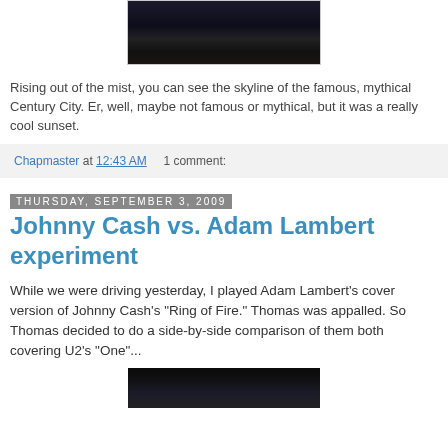[Figure (photo): Dark nighttime photo of a city skyline, likely Century City, emerging from mist]
Rising out of the mist, you can see the skyline of the famous, mythical Century City. Er, well, maybe not famous or mythical, but it was a really cool sunset.
Chapmaster at 12:43 AM   1 comment:
Thursday, September 3, 2009
Johnny Cash vs. Adam Lambert experiment
While we were driving yesterday, I played Adam Lambert's cover version of Johnny Cash's "Ring of Fire." Thomas was appalled. So Thomas decided to do a side-by-side comparison of them both covering U2's "One"...
[Figure (photo): Dark video thumbnail showing a partial view of a screen or presentation]